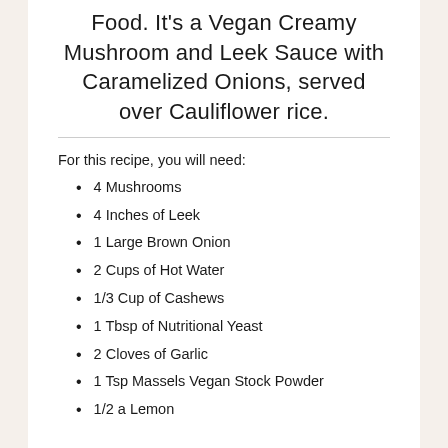Food. It's a Vegan Creamy Mushroom and Leek Sauce with Caramelized Onions, served over Cauliflower rice.
For this recipe, you will need:
4 Mushrooms
4 Inches of Leek
1 Large Brown Onion
2 Cups of Hot Water
1/3 Cup of Cashews
1 Tbsp of Nutritional Yeast
2 Cloves of Garlic
1 Tsp Massels Vegan Stock Powder
1/2 a Lemon